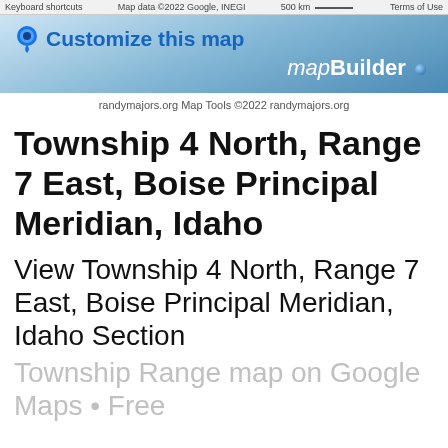Keyboard shortcuts   Map data ©2022 Google, INEGI   500 km   Terms of Use
[Figure (screenshot): mapBuilder banner with customize this map link and blue gradient background]
randymajors.org Map Tools ©2022 randymajors.org
Township 4 North, Range 7 East, Boise Principal Meridian, Idaho
View Township 4 North, Range 7 East, Boise Principal Meridian, Idaho Section
Township Range map on Google Maps • Free